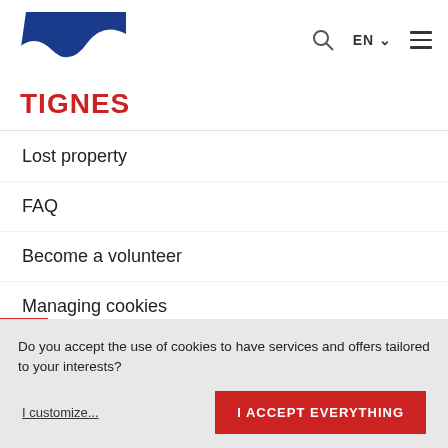[Figure (logo): Tignes mountain logo - blue trapezoid with white wave shape, red text TIGNES below]
Lost property
FAQ
Become a volunteer
Managing cookies
TIGNES TOURIST OFFICE
Tignes Information BP51
73321 Tignes Cedex
Phone: +33 4 79 40 04 40
Do you accept the use of cookies to have services and offers tailored to your interests?
I customize...
I ACCEPT EVERYTHING